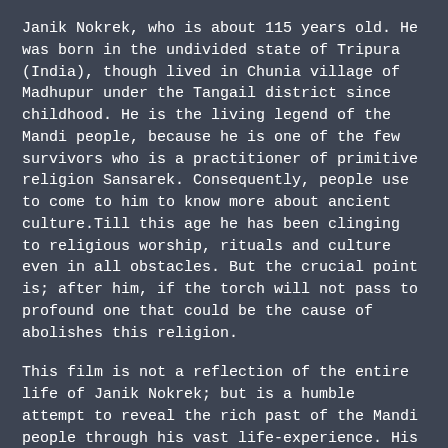Janik Nokrek, who is about 115 years old. He was born in the undivided state of Tripura (India), though lived in Chunia village of Madhupur under the Tangail district since childhood. He is the living legend of the Mandi people, because he is one of the few survivors who is a practitioner of primitive religion Sansarek. Consequently, people use to come to him to know more about ancient culture.Till this age he has been clinging to religious worship, rituals and culture even in all obstacles. But the crucial point is; after him, if the torch will not pass to profound one that could be the cause of abolishes this religion.
This film is not a reflection of the entire life of Janik Nokrek; but is a humble attempt to reveal the rich past of the Mandi people through his vast life-experience. His vivid grip with the decaying present points us to a re-born.
Director: Asma Beethe